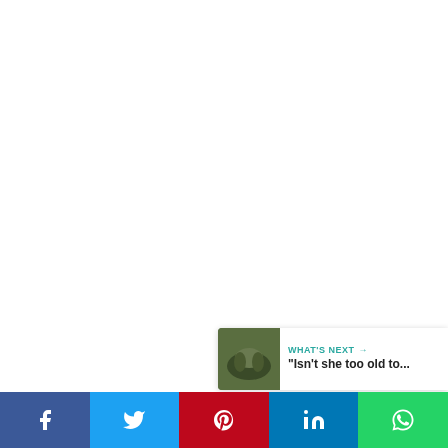[Figure (other): White/blank content area taking up most of the page]
[Figure (infographic): Heart/like button circle with teal background, count of 6, and share button circle below]
6
[Figure (infographic): What's Next panel with animal thumbnail and text: WHAT'S NEXT → "Isn't she too old to..."]
Social share bar with Facebook, Twitter, Pinterest, LinkedIn, WhatsApp buttons